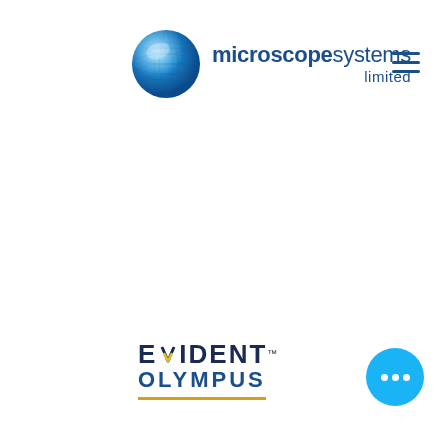[Figure (logo): Microscope Systems Limited logo with blue globe icon and text 'microscopesystems limited' in dark blue]
[Figure (logo): EVIDENT OLYMPUS logo with yellow underline, positioned bottom center]
[Figure (other): Hamburger menu icon (three horizontal lines) in dark blue, top right corner]
[Figure (other): Light blue circular chat/more options button with three white dots, bottom right corner]